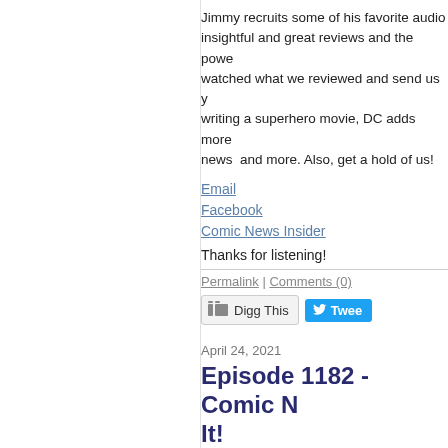Jimmy recruits some of his favorite audio... insightful and great reviews and the powe... watched what we reviewed and send us y... writing a superhero movie, DC adds more... news  and more. Also, get a hold of us!
Email
Facebook
Comic News Insider
Thanks for listening!
Permalink | Comments (0)
Digg This  Tweet
April 24, 2021
Episode 1182 - Comic N... It!
[Figure (photo): Movie poster collage with Attack the Block poster on the left and a dark scene on the right]